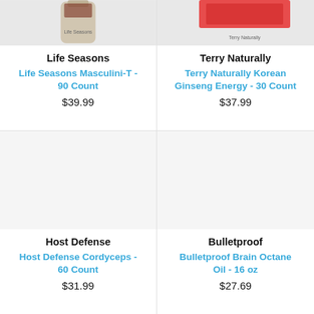[Figure (photo): Product image of Life Seasons Masculini-T bottle (top-left, partially cropped)]
Life Seasons
Life Seasons Masculini-T - 90 Count
$39.99
[Figure (photo): Product image of Terry Naturally Korean Ginseng Energy with red packaging (top-right, partially cropped)]
Terry Naturally
Terry Naturally Korean Ginseng Energy - 30 Count
$37.99
[Figure (photo): Product image of Host Defense Cordyceps (bottom-left, mostly white/empty area)]
Host Defense
Host Defense Cordyceps - 60 Count
$31.99
[Figure (photo): Product image of Bulletproof Brain Octane Oil (bottom-right, mostly white/empty area)]
Bulletproof
Bulletproof Brain Octane Oil - 16 oz
$27.69